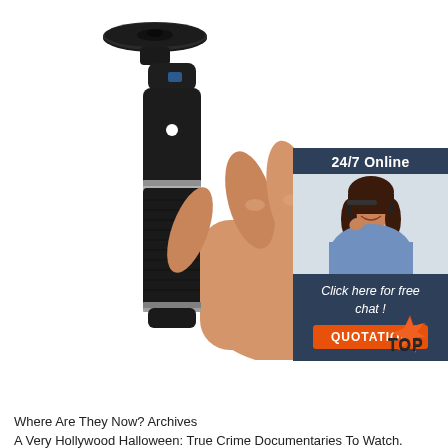[Figure (photo): A hand holding a black cylindrical device (laser pointer or similar tool) with a round disc at the top, against a white background. Product photo.]
[Figure (infographic): Advertisement box with dark blue background showing '24/7 Online', a smiling woman customer service agent with headset, text 'Click here for free chat!', and an orange button labeled 'QUOTATION'.]
[Figure (logo): Orange and dark 'TOP' badge/logo in bottom right corner of main image.]
Where Are They Now? Archives
A Very Hollywood Halloween: True Crime Documentaries To Watch.